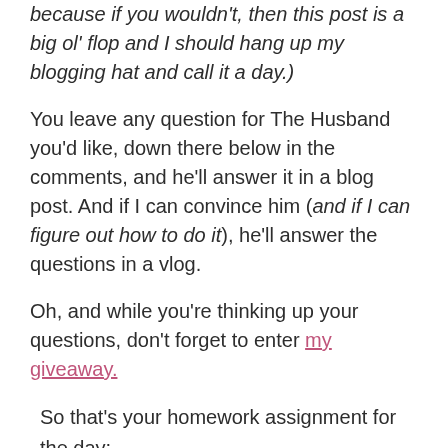because if you wouldn't, then this post is a big ol' flop and I should hang up my blogging hat and call it a day.)
You leave any question for The Husband you'd like, down there below in the comments, and he'll answer it in a blog post. And if I can convince him (and if I can figure out how to do it), he'll answer the questions in a vlog.
Oh, and while you're thinking up your questions, don't forget to enter my giveaway.
So that's your homework assignment for the day;
1. Leave a question for The Husband
2. Enter my giveaway
bisou